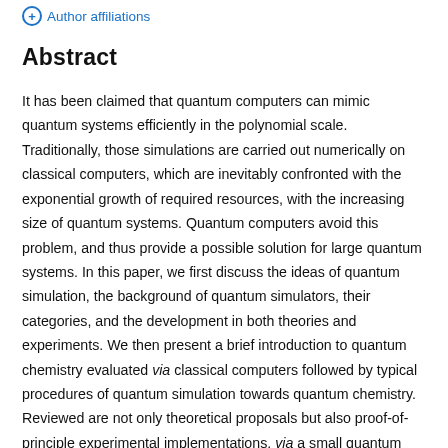Author affiliations
Abstract
It has been claimed that quantum computers can mimic quantum systems efficiently in the polynomial scale. Traditionally, those simulations are carried out numerically on classical computers, which are inevitably confronted with the exponential growth of required resources, with the increasing size of quantum systems. Quantum computers avoid this problem, and thus provide a possible solution for large quantum systems. In this paper, we first discuss the ideas of quantum simulation, the background of quantum simulators, their categories, and the development in both theories and experiments. We then present a brief introduction to quantum chemistry evaluated via classical computers followed by typical procedures of quantum simulation towards quantum chemistry. Reviewed are not only theoretical proposals but also proof-of-principle experimental implementations, via a small quantum computer, which include the